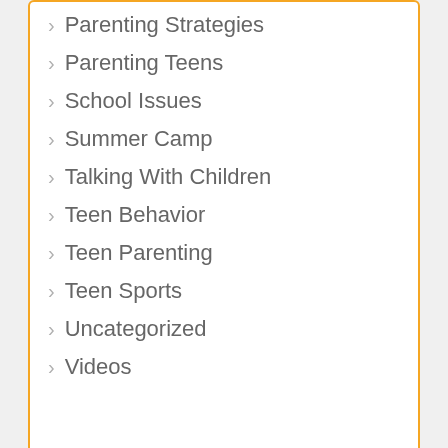Parenting Strategies
Parenting Teens
School Issues
Summer Camp
Talking With Children
Teen Behavior
Teen Parenting
Teen Sports
Uncategorized
Videos
[Figure (photo): Woman smiling in front of a chalkboard with the word 'More' written on it in cursive white text]